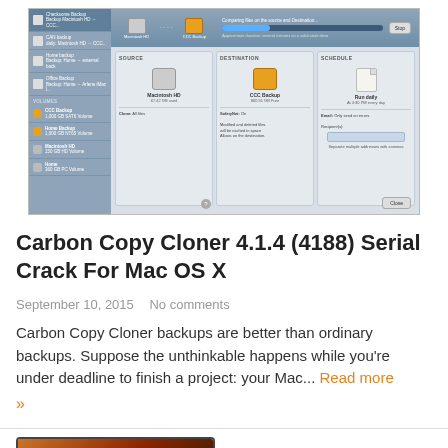[Figure (screenshot): Carbon Copy Cloner 4 application screenshot showing backup task configuration with source (Macintosh HD), destination (CCC Backup), and schedule columns, plus a progress bar at top and volume list in sidebar.]
Carbon Copy Cloner 4.1.4 (4188) Serial Crack For Mac OS X
September 10, 2015   No comments
Carbon Copy Cloner backups are better than ordinary backups. Suppose the unthinkable happens while you're under deadline to finish a project: your Mac... Read more »
[Figure (screenshot): Partial screenshot of a MacBook showing a dark screen with toolbar or menu bar element visible.]